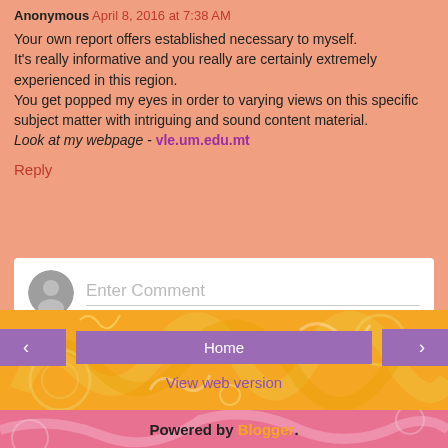Anonymous April 8, 2016 at 7:38 AM
Your own report offers established necessary to myself. It's really informative and you really are certainly extremely experienced in this region.
You get popped my eyes in order to varying views on this specific subject matter with intriguing and sound content material.
Look at my webpage - vle.um.edu.mt
Reply
Enter Comment
[Figure (other): Navigation bar with previous, Home, and next buttons on decorative orange swirl background]
View web version
Powered by Blogger.